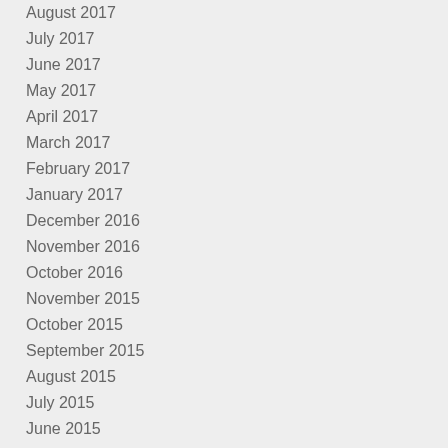August 2017
July 2017
June 2017
May 2017
April 2017
March 2017
February 2017
January 2017
December 2016
November 2016
October 2016
November 2015
October 2015
September 2015
August 2015
July 2015
June 2015
May 2015
April 2015
March 2015
February 2015
January 2015